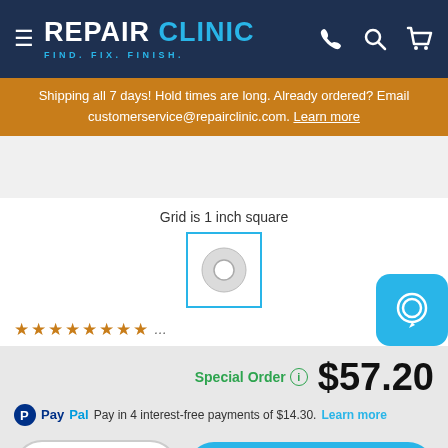REPAIR CLINIC — FIND. FIX. FINISH.
Shipping all 7 days! Hold times are long. Already ordered? Email customerservice@repairclinic.com. Learn more
[Figure (photo): Product image area (partially visible)]
Grid is 1 inch square
[Figure (photo): Small part shown inside a 1-inch grid square box outline]
Special Order  $57.20
PayPal Pay in 4 interest-free payments of $14.30. Learn more
1  ADD TO CART